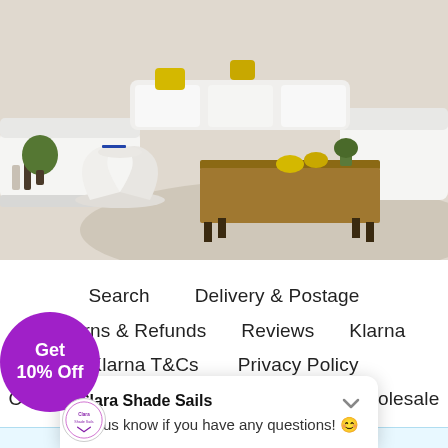[Figure (photo): A bright, airy living room with white sofas, a wooden coffee table, a white sculptural side table, and yellow decorative accents on a neutral rug.]
Search    Delivery & Postage
Returns & Refunds    Reviews    Klarna
Klarna T&Cs    Privacy Policy
Cookie Policy and Your Preferences    Wholesale
Contact Us
Clara Shade Sails
Let us know if you have any questions! 😊
Get
10% Off
Subscribe to get insider access to new products, ...